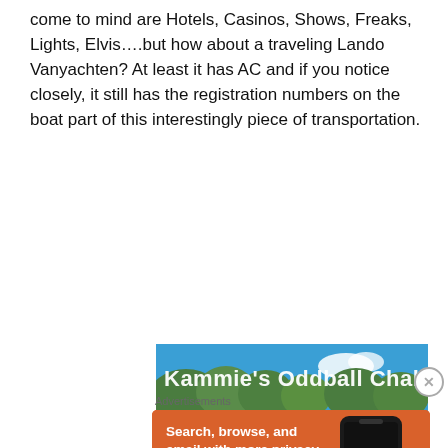come to mind are Hotels, Casinos, Shows, Freaks, Lights, Elvis….but how about a traveling Lando Vanyachten? At least it has AC and if you notice closely, it still has the registration numbers on the boat part of this interestingly piece of transportation.
[Figure (photo): Kammie's Oddball Challenge banner image showing blue sky, trees, and a red bridge/fence structure with white text overlay reading "Kammie's Oddball Challenge"]
Advertisements
[Figure (screenshot): DuckDuckGo advertisement on orange background with white bold text: 'Search, browse, and email with more privacy. All in One Free App' and image of a smartphone with DuckDuckGo logo and branding.]